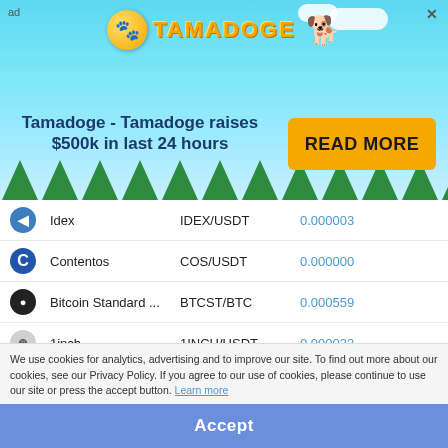[Figure (illustration): Tamadoge advertisement banner with logo, dog mascot, clouds, trees, headline text and READ MORE button]
| Icon | Name | Pair | Price |
| --- | --- | --- | --- |
|  | Idex | IDEX/USDT | 0.000003 |
|  | Contentos | COS/USDT | 0.000000 |
|  | Bitcoin Standard ... | BTCST/BTC | 0.000559 |
|  | 1inch | 1INCH/USDT | 0.000033 |
|  | Arpa Chain | ARPA/USDT | 0.000002 |
|  | Audius | AUDIO/USDT | 0.000014 |
|  | Horizen | ZEN/USDT | 0.000803 |
|  | Uniswap | UNI/BTC | 0.000312 |
|  | AS Roma Fan Token | ASR/USDT | 0.000208 |
|  | Convex Finance | CVX/USDT | 0.000256 |
We use cookies for analytics, advertising and to improve our site. To find out more about our cookies, see our Privacy Policy. If you agree to our use of cookies, please continue to use our site or press the accept button. Learn more
Accept